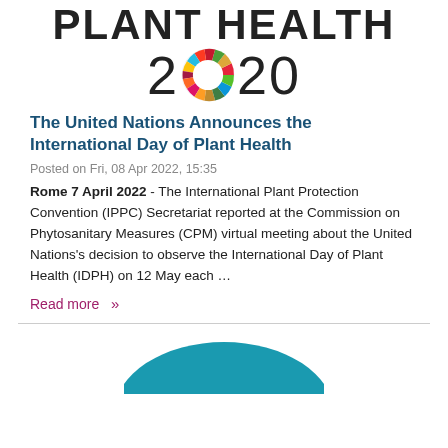[Figure (logo): PLANT HEALTH 2020 logo with SDG colorful wheel replacing the zero in 2020]
The United Nations Announces the International Day of Plant Health
Posted on Fri, 08 Apr 2022, 15:35
Rome 7 April 2022 - The International Plant Protection Convention (IPPC) Secretariat reported at the Commission on Phytosanitary Measures (CPM) virtual meeting about the United Nations's decision to observe the International Day of Plant Health (IDPH) on 12 May each …
Read more »
[Figure (illustration): Partial blue circular graphic at the bottom of the page]